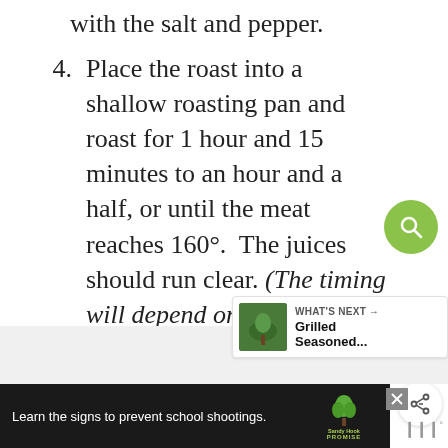with the salt and pepper.
4. Place the roast into a shallow roasting pan and roast for 1 hour and 15 minutes to an hour and a half, or until the meat reaches 160°.  The juices should run clear. (The timing will depend on how big your roast is.  It's always best to go by temperature, not time.)  Remove from oven, tent with foil, and let sit for 15 minutes before carving.
WHAT'S NEXT → Grilled Seasoned...
Learn the signs to prevent school shootings.